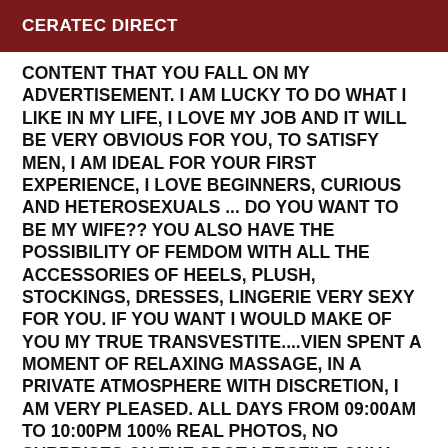CERATEC DIRECT
CONTENT THAT YOU FALL ON MY ADVERTISEMENT. I AM LUCKY TO DO WHAT I LIKE IN MY LIFE, I LOVE MY JOB AND IT WILL BE VERY OBVIOUS FOR YOU, TO SATISFY MEN, I AM IDEAL FOR YOUR FIRST EXPERIENCE, I LOVE BEGINNERS, CURIOUS AND HETEROSEXUALS ... DO YOU WANT TO BE MY WIFE?? YOU ALSO HAVE THE POSSIBILITY OF FEMDOM WITH ALL THE ACCESSORIES OF HEELS, PLUSH, STOCKINGS, DRESSES, LINGERIE VERY SEXY FOR YOU. IF YOU WANT I WOULD MAKE OF YOU MY TRUE TRANSVESTITE....VIEN SPENT A MOMENT OF RELAXING MASSAGE, IN A PRIVATE ATMOSPHERE WITH DISCRETION, I AM VERY PLEASED. ALL DAYS FROM 09:00am to 10:00pm 100% REAL PHOTOS, NO SURPRISES ON THE SPOT I RECEIVE ONLY PRIVATE APARTMENT !I DON'T MOVE! I DO NOT ANSWER PRIVATE NUMBER AND SMS BIG KISSES